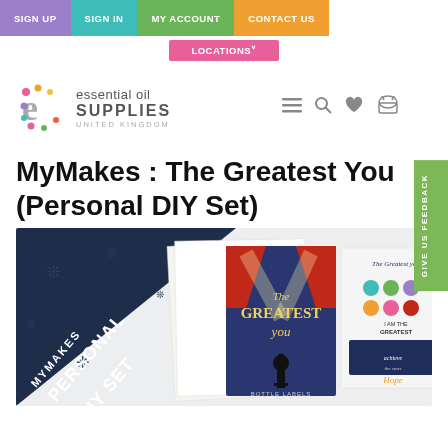SIGN UP | SIGN IN | MY ACCOUNT | CONTACT US | LOCATIONS
[Figure (logo): Essential Oil Supplies United Kingdom logo with colorful dot-e icon and navigation icons (hamburger menu, search, heart, basket)]
MyMakes : The Greatest You (Personal DIY Set)
[Figure (photo): MyMakes Personal DIY Set product image showing a dark navy background with diagonal banner reading MYMAKES PERSONAL DIY SET, along with product cards showing The Greatest You branding with circus/theatre theme, bottle labels and sticker sheets]